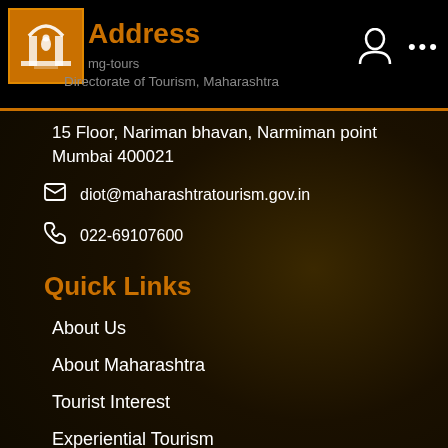Address
Directorate of Tourism, Maharashtra
15 Floor, Nariman bhavan, Narmiman point
Mumbai 400021
diot@maharashtratourism.gov.in
022-69107600
Quick Links
About Us
About Maharashtra
Tourist Interest
Experiential Tourism
Spotlight